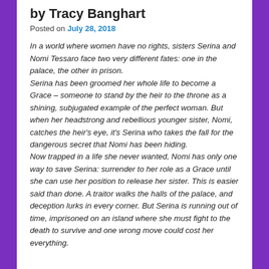by Tracy Banghart
Posted on July 28, 2018
In a world where women have no rights, sisters Serina and Nomi Tessaro face two very different fates: one in the palace, the other in prison.
Serina has been groomed her whole life to become a Grace – someone to stand by the heir to the throne as a shining, subjugated example of the perfect woman. But when her headstrong and rebellious younger sister, Nomi, catches the heir's eye, it's Serina who takes the fall for the dangerous secret that Nomi has been hiding.
Now trapped in a life she never wanted, Nomi has only one way to save Serina: surrender to her role as a Grace until she can use her position to release her sister. This is easier said than done. A traitor walks the halls of the palace, and deception lurks in every corner. But Serina is running out of time, imprisoned on an island where she must fight to the death to survive and one wrong move could cost her everything.